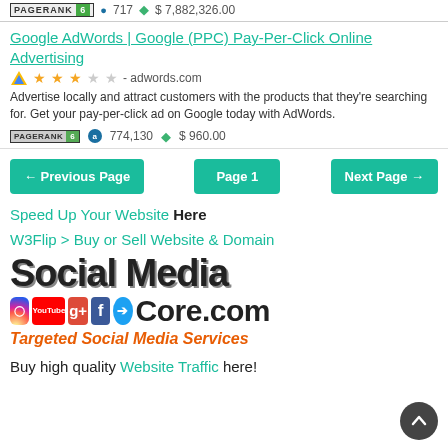PAGERANK 6  717  $7,882,326.00
Google AdWords | Google (PPC) Pay-Per-Click Online Advertising
★★★☆☆ - adwords.com
Advertise locally and attract customers with the products that they're searching for. Get your pay-per-click ad on Google today with AdWords.
PAGERANK 6  774,130  $ 960.00
← Previous Page   Page 1   Next Page →
Speed Up Your Website Here
W3Flip > Buy or Sell Website & Domain
[Figure (logo): Social Media Core.com logo with social media icons and tagline Targeted Social Media Services]
Buy high quality Website Traffic here!